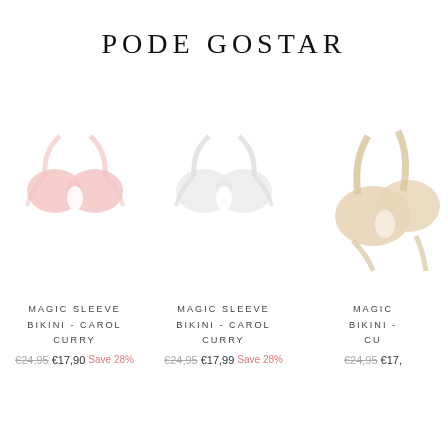PODE GOSTAR
[Figure (photo): Pink bikini top product image on white background]
MAGIC SLEEVE BIKINI - CAROL CURRY
€24,95  €17,90  Save 28%
[Figure (photo): White/light bikini top product image on white background]
MAGIC SLEEVE BIKINI - CAROL CURRY
€24,95  €17,99  Save 28%
[Figure (photo): Beige/cream bikini top product image partially visible]
MAGIC SLEEVE BIKINI - CU
€24,95  €17,...